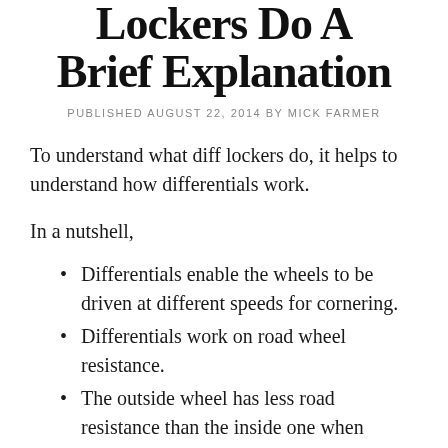Lockers Do A Brief Explanation
PUBLISHED AUGUST 22, 2014 BY MICK FARMER
To understand what diff lockers do, it helps to understand how differentials work.
In a nutshell,
Differentials enable the wheels to be driven at different speeds for cornering.
Differentials work on road wheel resistance.
The outside wheel has less road resistance than the inside one when